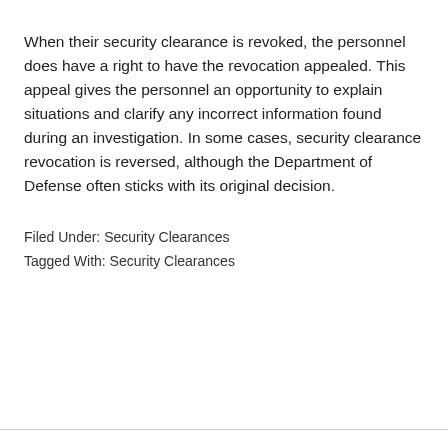When their security clearance is revoked, the personnel does have a right to have the revocation appealed. This appeal gives the personnel an opportunity to explain situations and clarify any incorrect information found during an investigation. In some cases, security clearance revocation is reversed, although the Department of Defense often sticks with its original decision.
Filed Under: Security Clearances
Tagged With: Security Clearances